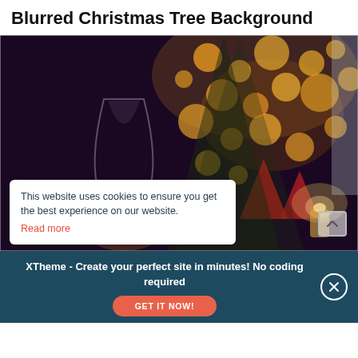Blurred Christmas Tree Background
[Figure (photo): Blurred bokeh Christmas tree background with wine glass, orange bokeh lights, red decorations, and a candle in a dark setting.]
This website uses cookies to ensure you get the best experience on our website.
Read more
XTheme - Create your perfect site in minutes! No coding required
GET IT NOW!